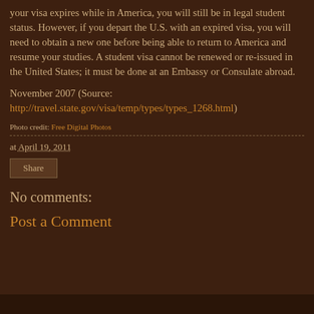your visa expires while in America, you will still be in legal student status. However, if you depart the U.S. with an expired visa, you will need to obtain a new one before being able to return to America and resume your studies. A student visa cannot be renewed or re-issued in the United States; it must be done at an Embassy or Consulate abroad.
November 2007 (Source: http://travel.state.gov/visa/temp/types/types_1268.html)
Photo credit: Free Digital Photos
at April 19, 2011
Share
No comments:
Post a Comment